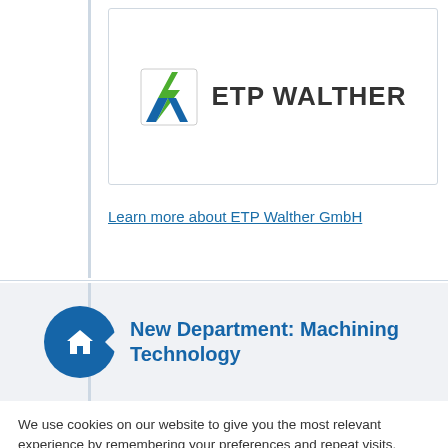[Figure (logo): ETP Walther logo with stylized lightning bolt icon and company name]
Learn more about ETP Walther GmbH
New Department: Machining Technology
We use cookies on our website to give you the most relevant experience by remembering your preferences and repeat visits.
Einstellungen   Alle akzeptieren